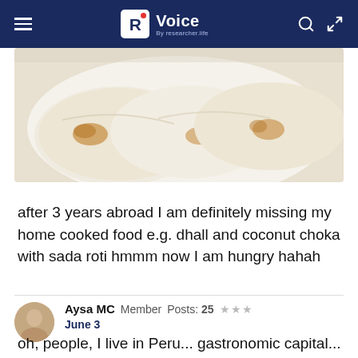R Voice By researcher.life
[Figure (photo): Close-up photo of flatbread (sada roti) on a white plate, with golden-brown spots]
after 3 years abroad I am definitely missing my home cooked food e.g. dhall and coconut choka with sada roti hmmm now I am hungry hahah
Aysa MC  Member  Posts: 25  ★★★
June 3
oh, people, I live in Peru... gastronomic capital... visitors